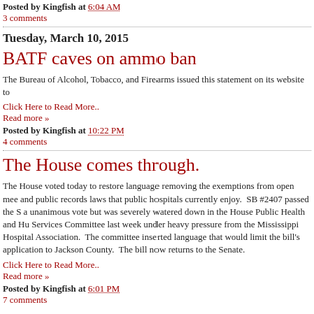Posted by Kingfish at 6:04 AM
3 comments
Tuesday, March 10, 2015
BATF caves on ammo ban
The Bureau of Alcohol, Tobacco, and Firearms issued this statement on its website to
Click Here to Read More..
Read more »
Posted by Kingfish at 10:22 PM
4 comments
The House comes through.
The House voted today to restore language removing the exemptions from open mee and public records laws that public hospitals currently enjoy.  SB #2407 passed the S a unanimous vote but was severely watered down in the House Public Health and Hu Services Committee last week under heavy pressure from the Mississippi Hospital Association.  The committee inserted language that would limit the bill's application to Jackson County.  The bill now returns to the Senate.
Click Here to Read More..
Read more »
Posted by Kingfish at 6:01 PM
7 comments